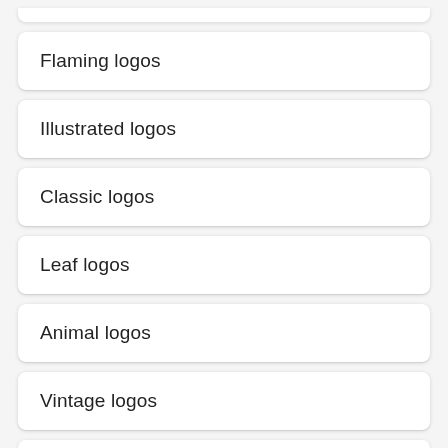Flaming logos
Illustrated logos
Classic logos
Leaf logos
Animal logos
Vintage logos
Art logos